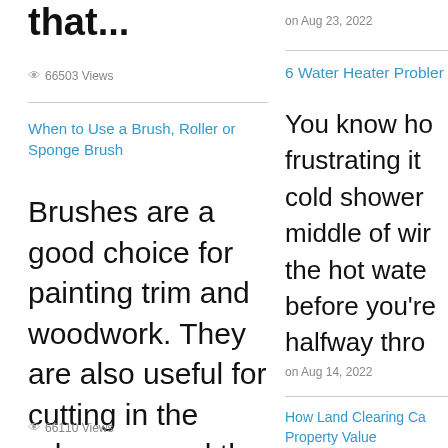that...
👁 66503 Views
on Aug 23, 2022
6 Water Heater Probler
When to Use a Brush, Roller or Sponge Brush
You know ho frustrating it cold shower middle of wir the hot wate before you're halfway thro
Brushes are a good choice for painting trim and woodwork. They are also useful for cutting in the edges around the top and bottom edges and corners...
on Aug 14, 2022
👁 66110 Views
How Land Clearing Ca Property Value